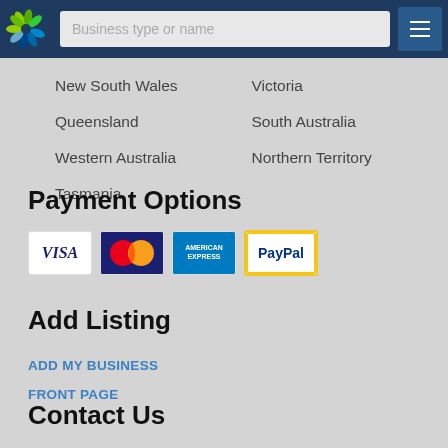Business type or name
New South Wales
Victoria
Queensland
South Australia
Western Australia
Northern Territory
Tasmania
Payment Options
[Figure (logo): Payment icons: VISA, MasterCard, American Express, PayPal]
Add Listing
ADD MY BUSINESS
FRONT PAGE
Contact Us